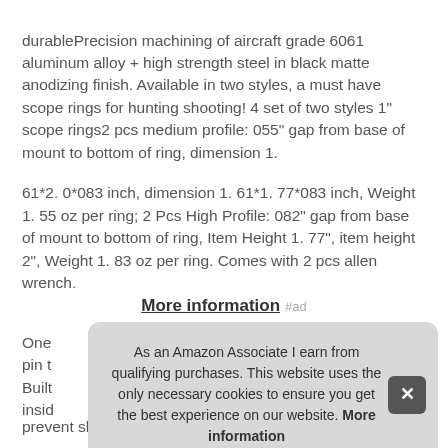durablePrecision machining of aircraft grade 6061 aluminum alloy + high strength steel in black matte anodizing finish. Available in two styles, a must have scope rings for hunting shooting! 4 set of two styles 1" scope rings2 pcs medium profile: 055" gap from base of mount to bottom of ring, dimension 1.
61*2. 0*083 inch, dimension 1. 61*1. 77*083 inch, Weight 1. 55 oz per ring; 2 Pcs High Profile: 082" gap from base of mount to bottom of ring, Item Height 1. 77", item height 2", Weight 1. 83 oz per ring. Comes with 2 pcs allen wrench.
More information #ad
One pin t Built insid prevent sliding and holding postion accurately
As an Amazon Associate I earn from qualifying purchases. This website uses the only necessary cookies to ensure you get the best experience on our website. More information